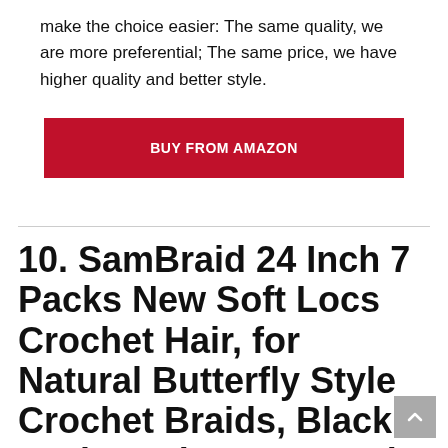make the choice easier: The same quality, we are more preferential; The same price, we have higher quality and better style.
BUY FROM AMAZON
10. SamBraid 24 Inch 7 Packs New Soft Locs Crochet Hair, for Natural Butterfly Style Crochet Braids, Black Curly And Pre Looped Synthetic